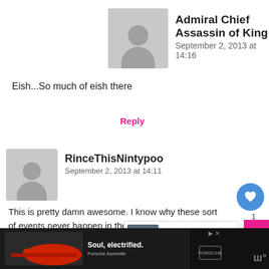Admiral Chief Assassin of King
September 2, 2013 at 14:16
Eish...So much of eish there
Reply
RinceThisNintypoo
September 2, 2013 at 14:11
This is pretty damn awesome. I know why these sort of events never happen in the Mother City, it's cus people would pitch up 9 months la
Reply
Hammersteyn
[Figure (screenshot): Advertisement bar at bottom: Porsche 'Soul, electrified.' ad with red Porsche car image, Porsche Asheville text and Porsche logo]